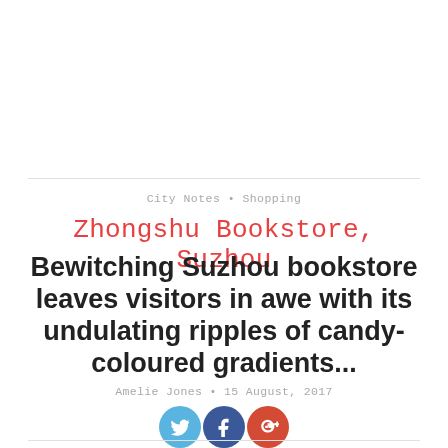City Notes · Shopping
Zhongshu Bookstore, Suzhou
Bewitching Suzhou bookstore leaves visitors in awe with its undulating ripples of candy-coloured gradients...
Amelie Jones · 15 August, 2017
[Figure (other): Social media share icons: Twitter (blue), Facebook (dark blue), Google+ (red)]